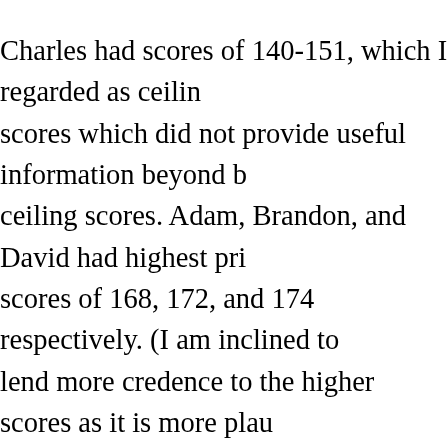Charles had scores of 140-151, which I regarded as ceiling scores which did not provide useful information beyond being ceiling scores. Adam, Brandon, and David had highest prior scores of 168, 172, and 174 respectively. (I am inclined to lend more credence to the higher scores as it is more plausible to say that someone properly rated around 170 hit his head on the ceiling and scored around 130 than someone properly rated at 130 accidently obtained a score around 170. I acknowledge that this could inflate my estimates.) After an hour or so of trying to convince myself I could interpret the scores so that they would say my test worked, I realised that my test found a significant difference where none was independently verified. Adam, Brandon, and David had